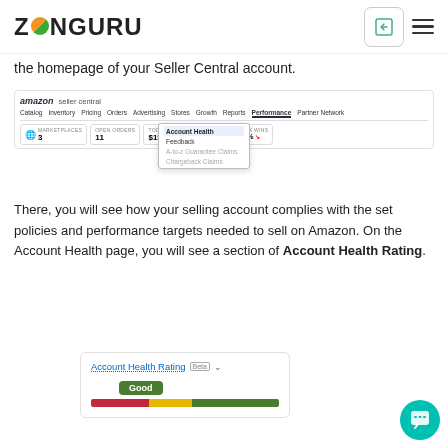ZANGURU
the homepage of your Seller Central account.
[Figure (screenshot): Amazon Seller Central dashboard screenshot showing the navigation bar with Performance menu open, revealing Account Health, Feedback, A-to-z Guarantee Claims, and Chargeback Claims options. Widgets show MARKETPLACES: 3, OPEN ORDERS: 11, TODAY'S SALES: $15.97, BUYER: 0.]
There, you will see how your selling account complies with the set policies and performance targets needed to sell on Amazon. On the Account Health page, you will see a section of Account Health Rating.
[Figure (screenshot): Account Health Rating widget showing 'Beta' label, a 'Good' green badge, and a tri-color bar (red, yellow, green) indicating account health status.]